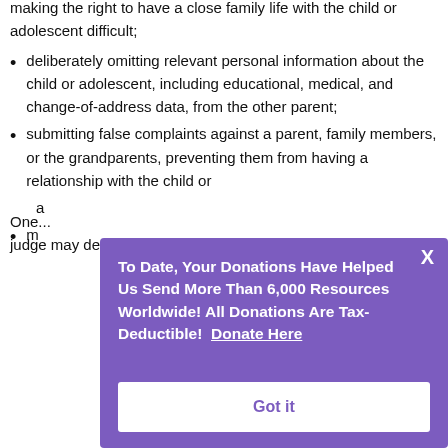making the right to have a close family life with the child or adolescent difficult;
deliberately omitting relevant personal information about the child or adolescent, including educational, medical, and change-of-address data, from the other parent;
submitting false complaints against a parent, family members, or the grandparents, preventing them from having a relationship with the child or adolescent;
(partially obscured by modal)
[Figure (other): Purple modal dialog overlay: 'To Date, Your Donations Have Helped Us Send More Than 6,000 Resources Worldwide! All Donations Are Tax-Deductible! Donate Here' with a 'Got it' button and an X close button.]
One... judge may declare that it has occurred and warn